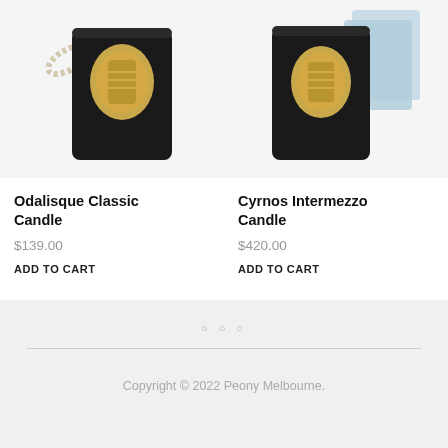[Figure (photo): Black candle jar with gold crest label, Odalisque Classic Candle product image with rope detail]
Odalisque Classic Candle
$139.00
ADD TO CART
[Figure (photo): Black candle jar with gold crest label, Cyrnos Intermezzo Candle product image with light blue box packaging]
Cyrnos Intermezzo Candle
$420.00
ADD TO CART
○ ○ ○
Copyright © 2022 Peony Melbourne.